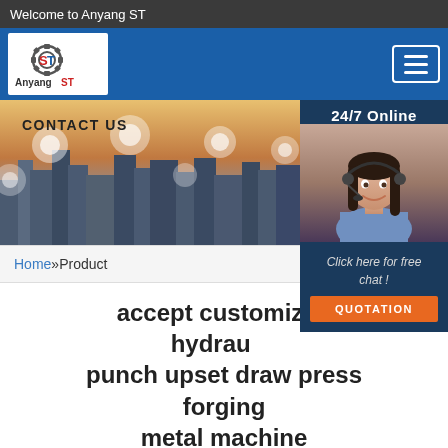Welcome to Anyang ST
[Figure (logo): Anyang ST company logo with gear icon and red/blue text]
[Figure (photo): Industrial cityscape banner with CONTACT US text and decorative light circles]
[Figure (photo): 24/7 Online customer service representative with headset, smiling]
Click here for free chat !
QUOTATION
Home »Product
accept customized hydraulic punch upset draw press forging metal machine
Just fill in the form below, click submit, you will get the price list, and we will contact you within one working day. Please also feel free to contact us via email or phone. (*